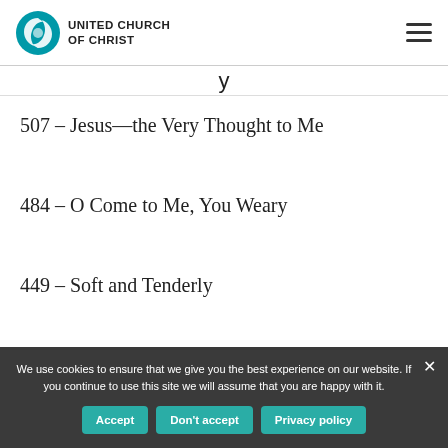United Church of Christ
y
507 – Jesus—the Very Thought to Me
484 – O Come to Me, You Weary
449 – Soft and Tenderly
We use cookies to ensure that we give you the best experience on our website. If you continue to use this site we will assume that you are happy with it.